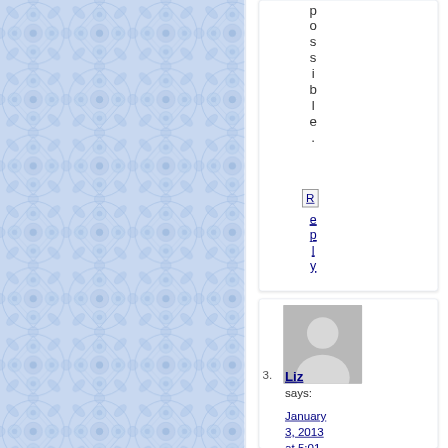[Figure (illustration): Blue decorative tile/floral pattern background on the left portion of the page]
possible.
Reply
[Figure (illustration): User avatar placeholder - grey silhouette person icon]
3.
Liz says:
January 3, 2013 at 5:01